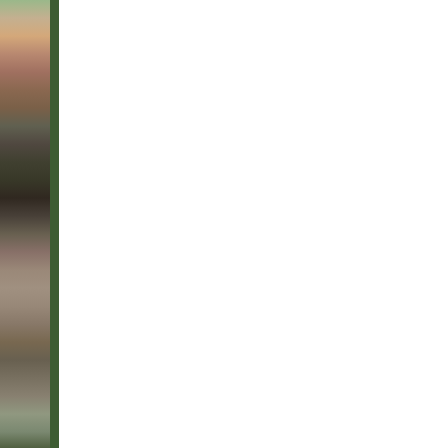[Figure (photo): Colorful nature/floral photograph strip running vertically along the left edge of the page]
13 - Imag
1 px
3 px
1 px